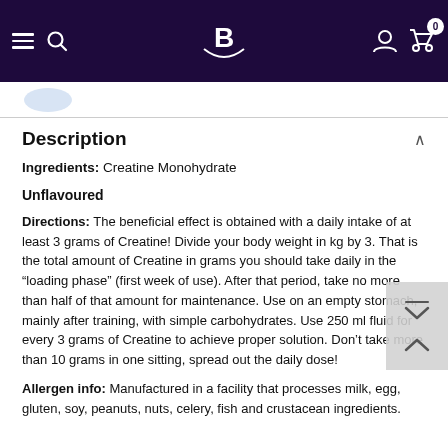Navigation bar with menu, search, logo, account and cart icons
[Figure (logo): Partial product image thumbnail at top left below nav bar]
Description
Ingredients: Creatine Monohydrate
Unflavoured
Directions: The beneficial effect is obtained with a daily intake of at least 3 grams of Creatine! Divide your body weight in kg by 3. That is the total amount of Creatine in grams you should take daily in the “loading phase” (first week of use). After that period, take no more than half of that amount for maintenance. Use on an empty stomach, mainly after training, with simple carbohydrates. Use 250 ml fluid for every 3 grams of Creatine to achieve proper solution. Don’t take more than 10 grams in one sitting, spread out the daily dose!
Allergen info: Manufactured in a facility that processes milk, egg, gluten, soy, peanuts, nuts, celery, fish and crustacean ingredients.